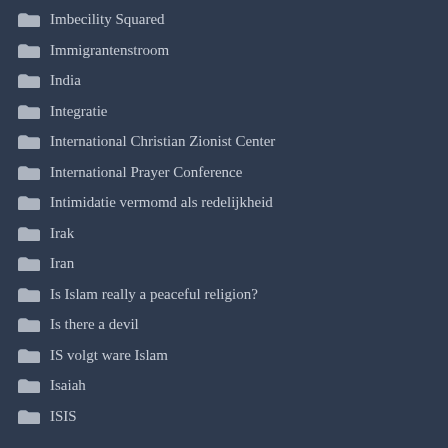Imbecility Squared
Immigrantenstroom
India
Integratie
International Christian Zionist Center
International Prayer Conference
Intimidatie vermomd als redelijkheid
Irak
Iran
Is Islam really a peaceful religion?
Is there a devil
IS volgt ware Islam
Isaiah
ISIS